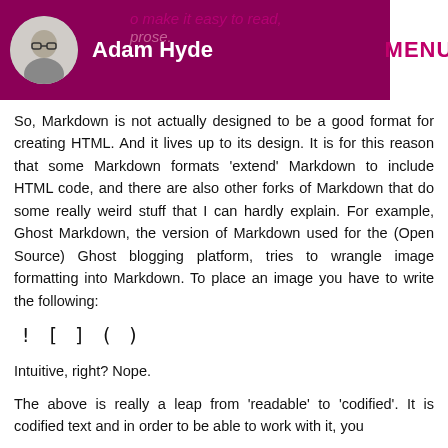Adam Hyde | MENU
So, Markdown is not actually designed to be a good format for creating HTML. And it lives up to its design. It is for this reason that some Markdown formats ‘extend’ Markdown to include HTML code, and there are also other forks of Markdown that do some really weird stuff that I can hardly explain. For example, Ghost Markdown, the version of Markdown used for the (Open Source) Ghost blogging platform, tries to wrangle image formatting into Markdown. To place an image you have to write the following:
Intuitive, right? Nope.
The above is really a leap from ‘readable’ to ‘codified’. It is codified text and in order to be able to work with it, you